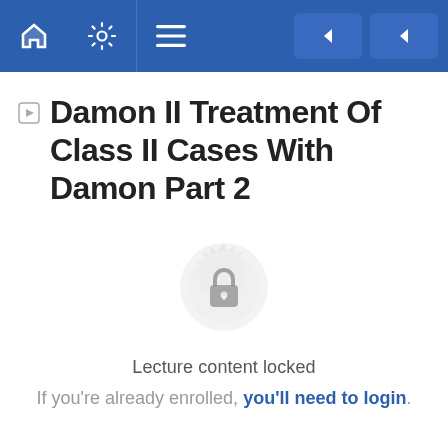[Figure (screenshot): Navigation bar with home icon, settings icon, menu icon on the left, and two navigation arrow buttons on the right, on a blue background.]
Damon II Treatment Of Class II Cases With Damon Part 2
[Figure (illustration): A decorative circular badge with a padlock icon in the center, rendered in light gray, indicating locked content.]
Lecture content locked
If you're already enrolled, you'll need to login.